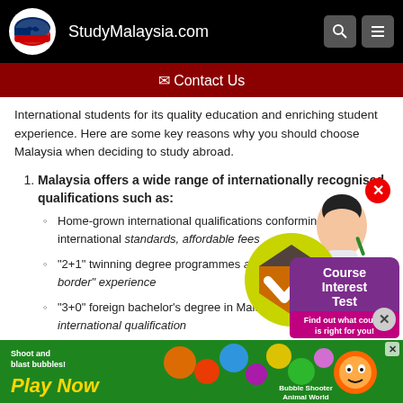StudyMalaysia.com
✉ Contact Us
International students for its quality education and enriching student experience. Here are some key reasons why you should choose Malaysia when deciding to study abroad.
Malaysia offers a wide range of internationally recognised qualifications such as:
Home-grown international qualifications conforming to international standards, affordable fees
"2+1" twinning degree programmes at value-for-money "cross-border" experience
"3+0" foreign bachelor's degree in Malaysia - an affordable international qualification
Foreign university branch campuses in Malaysia - get the b...
[Figure (infographic): Course Interest Test widget with Malaysian flag checkmark logo and a student illustration]
[Figure (infographic): Ad banner: Shoot and blast bubbles! Play Now - Bubble Shooter Animal World game advertisement]